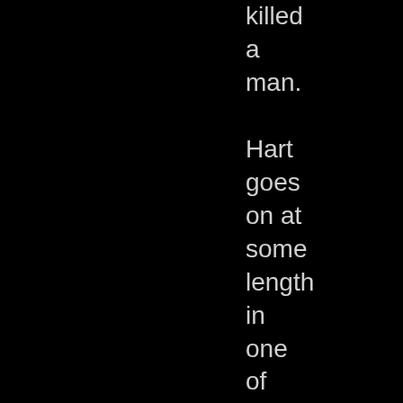killed a man. Hart goes on at some length in one of his nighttime discussions with his dog Roland, conducted in the liminal space between